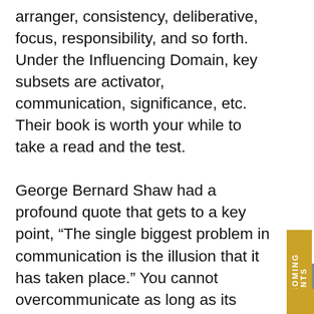arranger, consistency, deliberative, focus, responsibility, and so forth.  Under the Influencing Domain, key subsets are activator, communication, significance, etc. Their book is worth your while to take a read and the test.

George Bernard Shaw had a profound quote that gets to a key point, “The single biggest problem in communication is the illusion that it has taken place.” You cannot overcommunicate as long as its purposeful. Beyond regularly scheduled meetings, my recommendation is that you plan for your key communication interactions every week and modify daily. That planning coupled with your listening